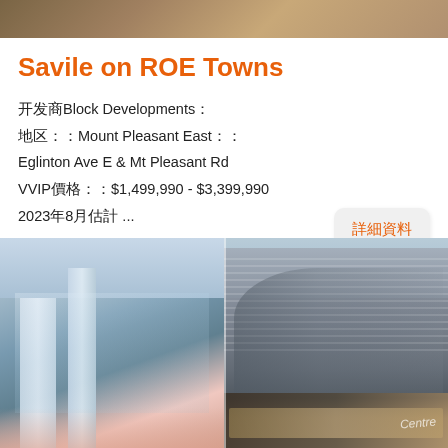[Figure (photo): Top banner image showing a building exterior]
Savile on ROE Towns
開發商Block Developments。
地區：Mount Pleasant East。
Eglinton Ave E & Mt Pleasant Rd
VVIP價格：$1,499,990 - $3,399,990
2023年8月估計入住 ...
詳細資料
[Figure (photo): Two architectural renderings of the Savile on ROE Towns development: left shows tall glass towers, right shows a modern curved building labeled Centre]